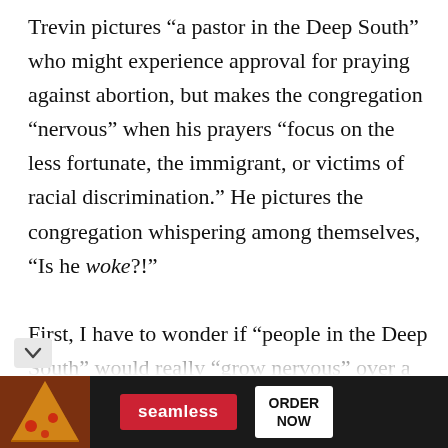Trevin pictures “a pastor in the Deep South” who might experience approval for praying against abortion, but makes the congregation “nervous” when his prayers “focus on the less fortunate, the immigrant, or victims of racial discrimination.” He pictures the congregation whispering among themselves, “Is he woke?!”

First, I have to wonder if “people in the Deep South” would really “grow nervous” over a basic prayer for the “less fortunate.” I have to [imagine many southern churches are in fact
[Figure (other): Advertisement banner for Seamless food delivery showing pizza image on left, Seamless logo in red, and ORDER NOW button in white box on dark background.]